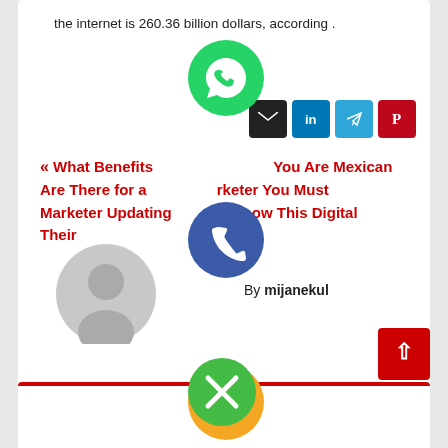the internet is 260.36 billion dollars, according .
[Figure (screenshot): Social sharing icons: WhatsApp (green circle), email (black square), LinkedIn (blue square), Telegram (blue square), Pinterest (red square), phone (blue circle), email orange (orange circle), LINE (green circle), Viber (purple circle), close button (green circle with X)]
« What Benefits You Are Mexican Are There for a Marketer You Must Marketer Updating Know This Digital Their
By mijanekul
[Figure (illustration): Default grey user avatar silhouette in a circle]